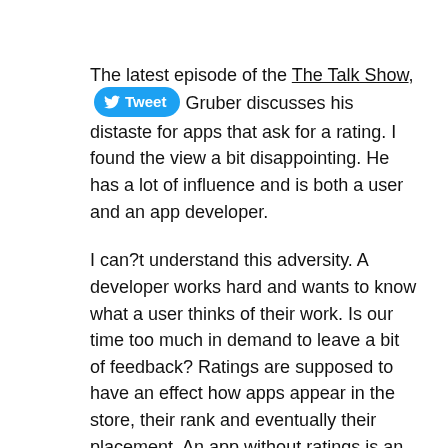The latest episode of the The Talk Show, [Tweet button] Gruber discusses his distaste for apps that ask for a rating. I found the view a bit disappointing. He has a lot of influence and is both a user and an app developer.
I can?t understand this adversity. A developer works hard and wants to know what a user thinks of their work. Is our time too much in demand to leave a bit of feedback? Ratings are supposed to have an effect how apps appear in the store, their rank and eventually their placement. An app without ratings is an app that may never be found, a possible lost soul.
I have responded in every way to the rating